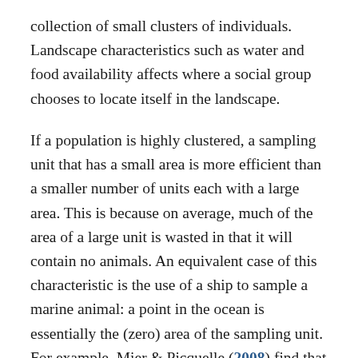collection of small clusters of individuals. Landscape characteristics such as water and food availability affects where a social group chooses to locate itself in the landscape.
If a population is highly clustered, a sampling unit that has a small area is more efficient than a smaller number of units each with a large area. This is because on average, much of the area of a large unit is wasted in that it will contain no animals. An equivalent case of this characteristic is the use of a ship to sample a marine animal: a point in the ocean is essentially the (zero) area of the sampling unit. For example, Mier & Picquelle (2008) find that a systematic sample is best for sampling a highly patchy marine animal.